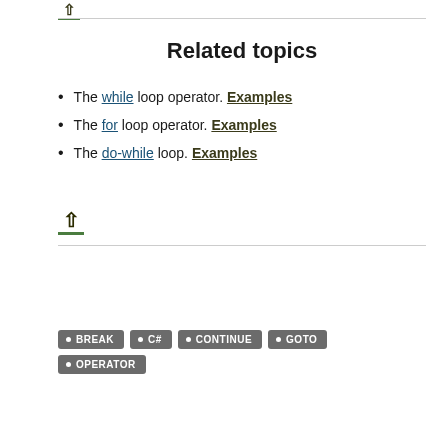[Figure (other): Up arrow icon with green underline bar at top]
Related topics
The while loop operator. Examples
The for loop operator. Examples
The do-while loop. Examples
[Figure (other): Up arrow icon with green underline bar at bottom]
BREAK  C#  CONTINUE  GOTO  OPERATOR